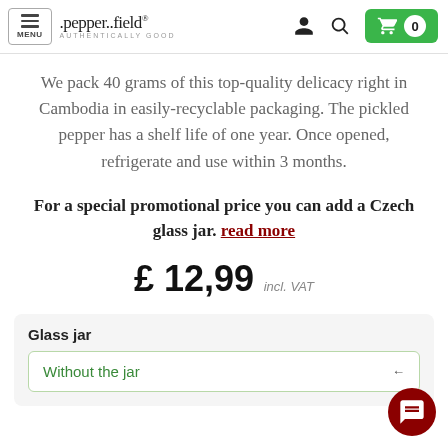MENU | .pepper..field® AUTHENTICALLY GOOD | [person icon] [search icon] [cart: 0]
We pack 40 grams of this top-quality delicacy right in Cambodia in easily-recyclable packaging. The pickled pepper has a shelf life of one year. Once opened, refrigerate and use within 3 months.
For a special promotional price you can add a Czech glass jar. read more
£ 12,99 incl. VAT
Glass jar
Without the jar